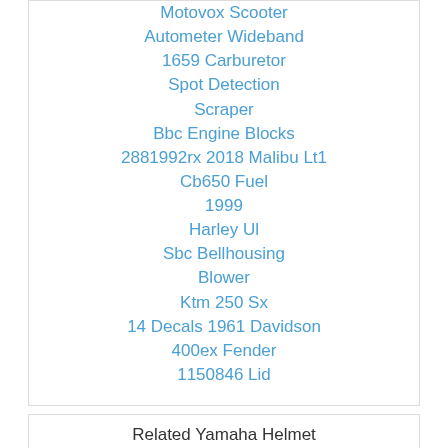Motovox Scooter
Autometer Wideband
1659 Carburetor
Spot Detection
Scraper
Bbc Engine Blocks
2881992rx 2018 Malibu Lt1
Cb650 Fuel
1999
Harley Ul
Sbc Bellhousing
Blower
Ktm 250 Sx
14 Decals 1961 Davidson
400ex Fender
1150846 Lid
Related Yamaha Helmet
Engine
Yamaha Engine
Yamaha Motor